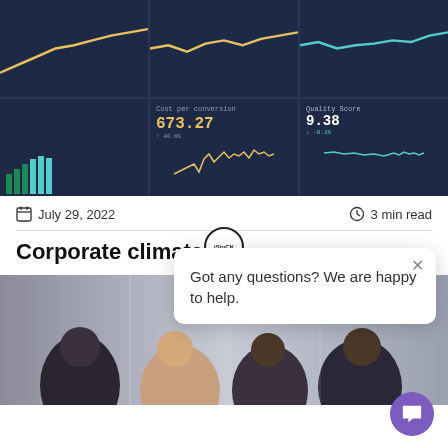[Figure (screenshot): Screenshot of a financial dashboard on a dark blue background showing metric tiles including 'Cost per conversion 673.27' and 'Quality Score 9.38 -0.1%' with sparkline charts]
July 29, 2022
3 min read
Corporate climate
[Figure (photo): Photo of a group of business professionals in suits talking and smiling, appears to be in a modern office or conference setting]
Got any questions? We are happy to help.